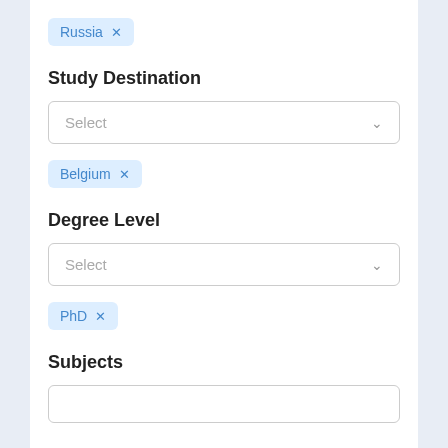[Figure (screenshot): UI tag showing 'Russia x' selected filter chip in light blue]
Study Destination
[Figure (screenshot): Dropdown select box with placeholder text 'Select' and chevron icon]
[Figure (screenshot): UI tag showing 'Belgium x' selected filter chip in light blue]
Degree Level
[Figure (screenshot): Dropdown select box with placeholder text 'Select' and chevron icon]
[Figure (screenshot): UI tag showing 'PhD x' selected filter chip in light blue]
Subjects
[Figure (screenshot): Partial dropdown select box at bottom of page]